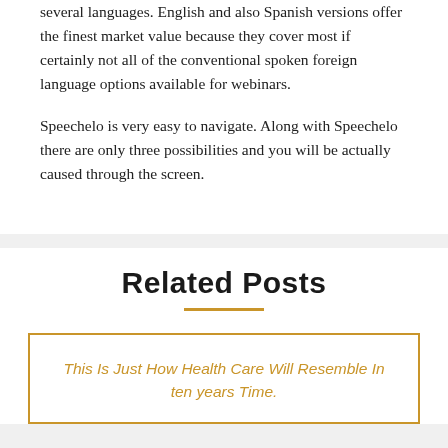several languages. English and also Spanish versions offer the finest market value because they cover most if certainly not all of the conventional spoken foreign language options available for webinars.
Speechelo is very easy to navigate. Along with Speechelo there are only three possibilities and you will be actually caused through the screen.
Related Posts
This Is Just How Health Care Will Resemble In ten years Time.